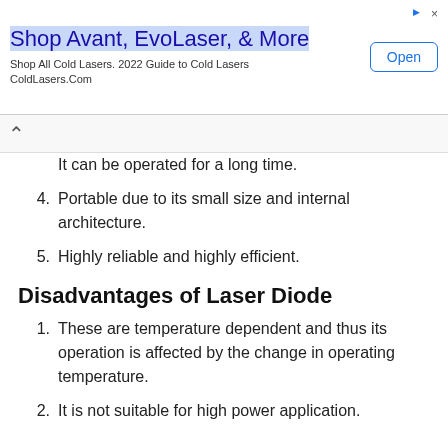[Figure (screenshot): Advertisement banner for ColdLasers.Com featuring 'Shop Avant, EvoLaser, & More' with an Open button]
It can be operated for a long time.
4. Portable due to its small size and internal architecture.
5. Highly reliable and highly efficient.
Disadvantages of Laser Diode
1. These are temperature dependent and thus its operation is affected by the change in operating temperature.
2. It is not suitable for high power application.